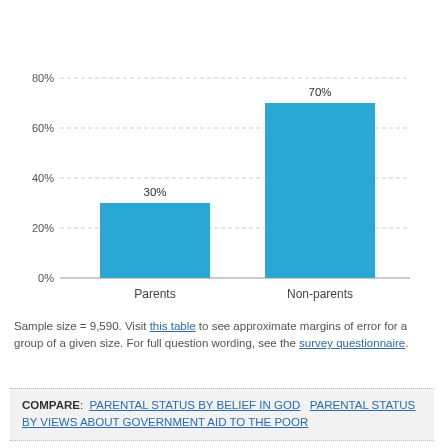[Figure (bar-chart): ]
Sample size = 9,590. Visit this table to see approximate margins of error for a group of a given size. For full question wording, see the survey questionnaire.
COMPARE: PARENTAL STATUS BY BELIEF IN GOD   PARENTAL STATUS BY VIEWS ABOUT GOVERNMENT AID TO THE POOR